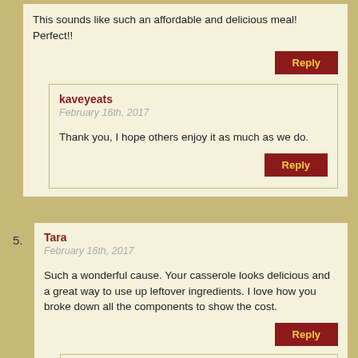This sounds like such an affordable and delicious meal! Perfect!!
Reply
kaveyeats
February 16th, 2017
Thank you, I hope others enjoy it as much as we do.
Reply
5.
Tara
February 16th, 2017
Such a wonderful cause. Your casserole looks delicious and a great way to use up leftover ingredients. I love how you broke down all the components to show the cost.
Reply
kaveyeats
February 16th, 2017